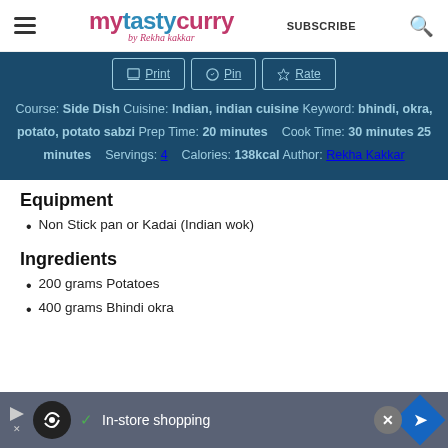mytastycurry by Rekha kakkar  SUBSCRIBE
Course: Side Dish
Cuisine: Indian, indian cuisine
Keyword: bhindi, okra, potato, potato sabzi
Prep Time: 20 minutes   Cook Time: 30 minutes
25 minutes   Servings: 4   Calories: 138kcal
Author: Rekha Kakkar
Equipment
Non Stick pan or Kadai (Indian wok)
Ingredients
200 grams Potatoes
400 grams Bhindi okra